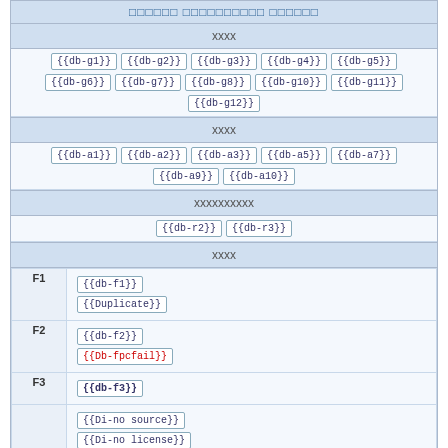xxxxxxx xxxxxxxxxx xxxxxx
xxxx
{{db-g1}} {{db-g2}} {{db-g3}} {{db-g4}} {{db-g5}} {{db-g6}} {{db-g7}} {{db-g8}} {{db-g10}} {{db-g11}} {{db-g12}}
xxxx
{{db-a1}} {{db-a2}} {{db-a3}} {{db-a5}} {{db-a7}} {{db-a9}} {{db-a10}}
xxxxxxxxxx
{{db-r2}} {{db-r3}}
xxxx
|  |  |
| --- | --- |
| F1 | {{db-f1}}
{{Duplicate}} |
| F2 | {{db-f2}}
{{Db-fpcfail}} |
| F3 | {{db-f3}} |
| F4 | {{Di-no source}}
{{Di-no license}}
{{Di-no source no license}} |